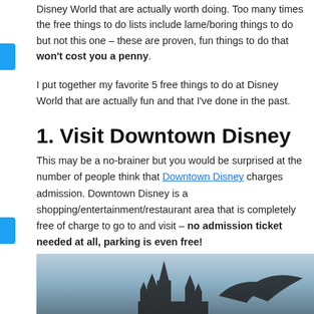Disney World that are actually worth doing. Too many times the free things to do lists include lame/boring things to do but not this one – these are proven, fun things to do that won't cost you a penny.
I put together my favorite 5 free things to do at Disney World that are actually fun and that I've done in the past.
1. Visit Downtown Disney
This may be a no-brainer but you would be surprised at the number of people think that Downtown Disney charges admission. Downtown Disney is a shopping/entertainment/restaurant area that is completely free of charge to go to and visit – no admission ticket needed at all, parking is even free!
[Figure (photo): Bottom portion of a Disney World themed image showing silhouetted castle/figures against a grey-blue sky background]